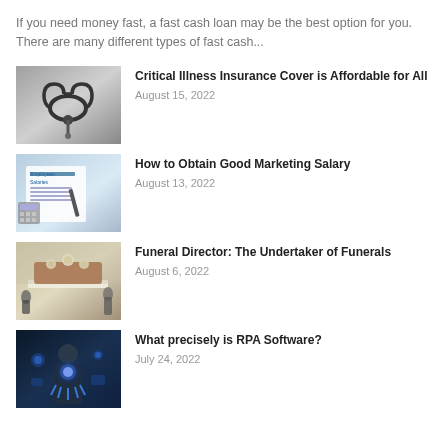If you need money fast, a fast cash loan may be the best option for you. There are many different types of fast cash...
[Figure (photo): Black and white photo of a stethoscope on a surface]
Critical Illness Insurance Cover is Affordable for All
August 15, 2022
[Figure (photo): Photo of an employee salaries document with a pen and calculator]
How to Obtain Good Marketing Salary
August 13, 2022
[Figure (photo): Photo of a funeral scene with coffin and flowers]
Funeral Director: The Undertaker of Funerals
August 6, 2022
[Figure (photo): Photo of a person in suit with robotic hand holding technology icons, representing RPA software]
What precisely is RPA Software?
July 24, 2022